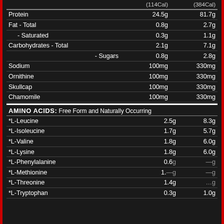|  | (114Cal) | (384Cal) |
| --- | --- | --- |
| Protein | 24.5g | 81.7g |
| Fat - Total | 0.8g | 2.7g |
| - Saturated | 0.3g | 1.1g |
| Carbohydrates - Total | 2.1g | 7.1g |
| - Sugars | 0.8g | 2.8g |
| Sodium | 100mg | 330mg |
| Ornithine | 100mg | 330mg |
| Skullcap | 100mg | 330mg |
| Chamomile | 100mg | 330mg |
AMINO ACIDS: Free Form and Naturally Occurring
|  |  |  |
| --- | --- | --- |
| *L-Leucine | 2.5g | 8.3g |
| *L-Isoleucine | 1.7g | 5.7g |
| *L-Valine | 1.8g | 6.0g |
| *L-Lysine | 1.8g | 6.0g |
| *L-Phenylalanine | 0.6g | —g |
| *L-Methionine | 1.—g | —g |
| *L-Threonine | 1.4g | —g |
| *L-Tryptophan | 0.3g | 1.0g |